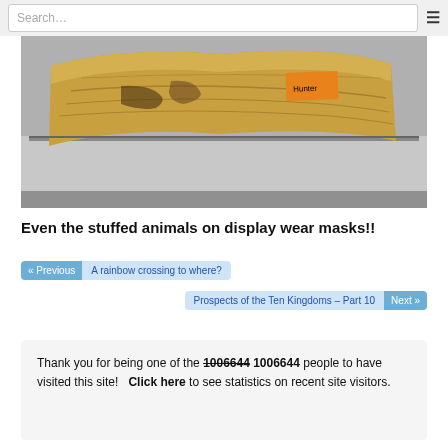Search…
[Figure (photo): A curved piece of wood with natural grain sitting on a silver laptop, with an orange tag labeled 'Hunter']
Even the stuffed animals on display wear masks!!
« Previous  A rainbow crossing to where?
Prospects of the Ten Kingdoms – Part 10  Next »
Thank you for being one of the 1006644 people to have visited this site!   Click here to see statistics on recent site visitors.